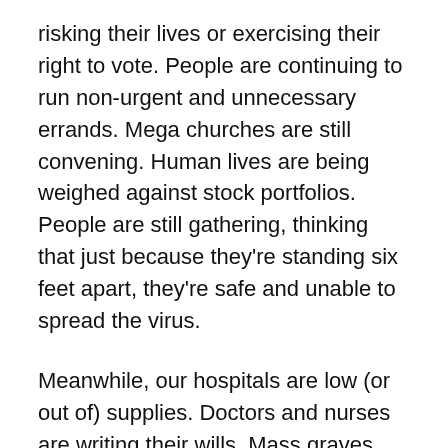risking their lives or exercising their right to vote. People are continuing to run non-urgent and unnecessary errands. Mega churches are still convening. Human lives are being weighed against stock portfolios. People are still gathering, thinking that just because they're standing six feet apart, they're safe and unable to spread the virus.
Meanwhile, our hospitals are low (or out of) supplies. Doctors and nurses are writing their wills. Mass graves are being dug. I am treating my mail and groceries as if they are nuclear waste. I don't know when I will see my family again. I look at every human and every surface and the air